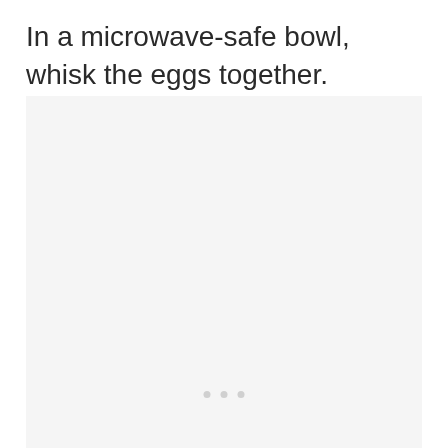In a microwave-safe bowl, whisk the eggs together.
[Figure (photo): Large light gray placeholder image area with three faint dots visible near the center-bottom region, indicating a loading or missing image placeholder.]